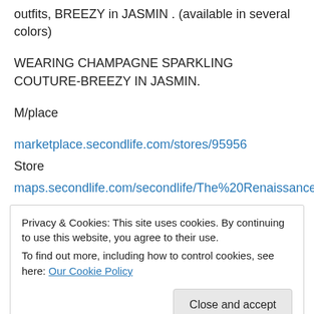outfits, BREEZY in JASMIN . (available in several colors)
WEARING CHAMPAGNE SPARKLING COUTURE-BREEZY IN JASMIN.
M/place
marketplace.secondlife.com/stores/95956
Store
maps.secondlife.com/secondlife/The%20Renaissance%20Galler…
Privacy & Cookies: This site uses cookies. By continuing to use this website, you agree to their use.
To find out more, including how to control cookies, see here: Our Cookie Policy
have a super week